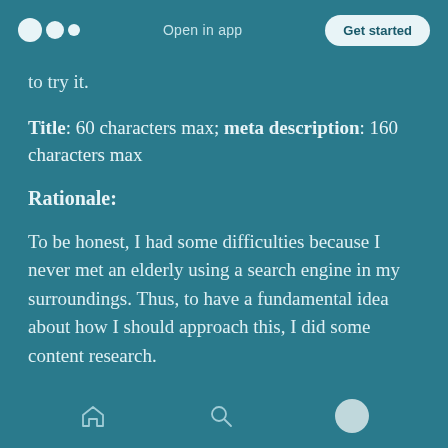Medium logo | Open in app | Get started
to try it.
Title: 60 characters max; meta description: 160 characters max
Rationale:
To be honest, I had some difficulties because I never met an elderly using a search engine in my surroundings. Thus, to have a fundamental idea about how I should approach this, I did some content research.
Home | Search | Profile